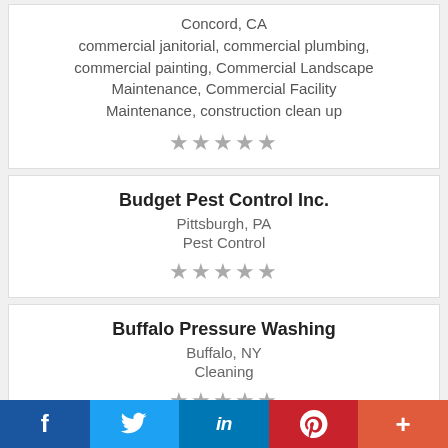Concord, CA
commercial janitorial, commercial plumbing, commercial painting, Commercial Landscape Maintenance, Commercial Facility Maintenance, construction clean up
[Figure (other): 5 star rating icons (gray, empty stars)]
Budget Pest Control Inc.
Pittsburgh, PA
Pest Control
[Figure (other): 5 star rating icons (gray, empty stars)]
Buffalo Pressure Washing
Buffalo, NY
Cleaning
[Figure (other): 5 star rating icons (gray, empty stars)]
f  (Twitter bird)  in  P  +